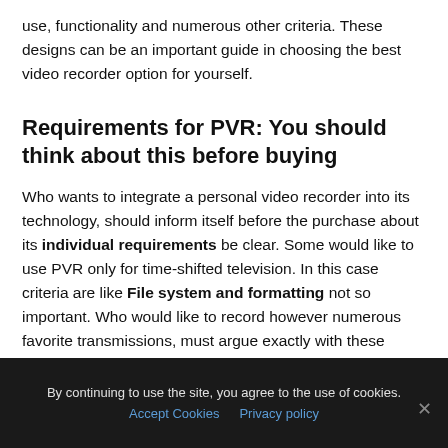in tests, numerous models are compared with each other in use, functionality and numerous other criteria. These designs can be an important guide in choosing the best video recorder option for yourself.
Requirements for PVR: You should think about this before buying
Who wants to integrate a personal video recorder into its technology, should inform itself before the purchase about its individual requirements be clear. Some would like to use PVR only for time-shifted television. In this case criteria are like File system and formatting not so important. Who would like to record however numerous favorite transmissions, must argue exactly with these characteristics. Especially if a video archive is to be created, these areas of PVR are important.
By continuing to use the site, you agree to the use of cookies. Accept Cookies Privacy policy